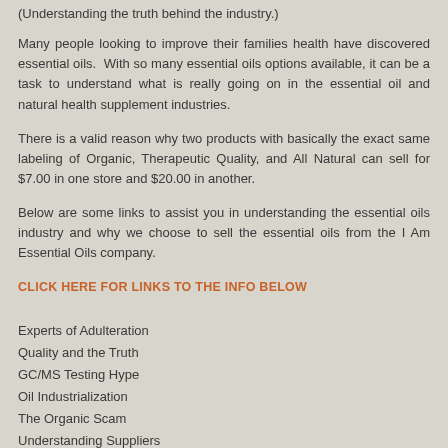(Understanding the truth behind the industry.)
Many people looking to improve their families health have discovered essential oils.  With so many essential oils options available, it can be a task to understand what is really going on in the essential oil and natural health supplement industries.
There is a valid reason why two products with basically the exact same labeling of Organic, Therapeutic Quality, and All Natural can sell for $7.00 in one store and $20.00 in another.
Below are some links to assist you in understanding the essential oils industry and why we choose to sell the essential oils from the I Am Essential Oils company.
CLICK HERE FOR LINKS TO THE INFO BELOW
Experts of Adulteration
Quality and the Truth
GC/MS Testing Hype
Oil Industrialization
The Organic Scam
Understanding Suppliers